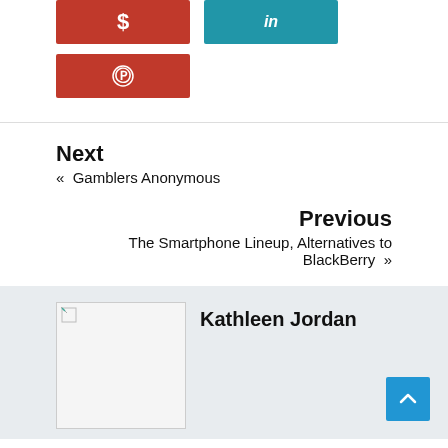[Figure (other): Red button with dollar sign ($)]
[Figure (other): Teal/blue button with LinkedIn 'in' icon]
[Figure (other): Red button with Pinterest 'p' icon]
Next
« Gamblers Anonymous
Previous
The Smartphone Lineup, Alternatives to BlackBerry »
[Figure (photo): Author photo placeholder (broken image)]
Kathleen Jordan